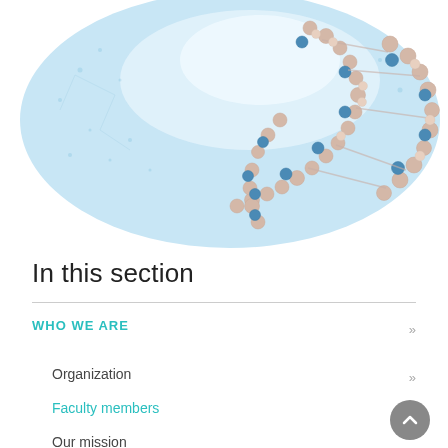[Figure (illustration): A large oval/elliptical image on a light blue background featuring a 3D rendered DNA double helix structure with beige and blue beads/spheres, representing genetic science.]
In this section
WHO WE ARE
Organization
Faculty members
Our mission